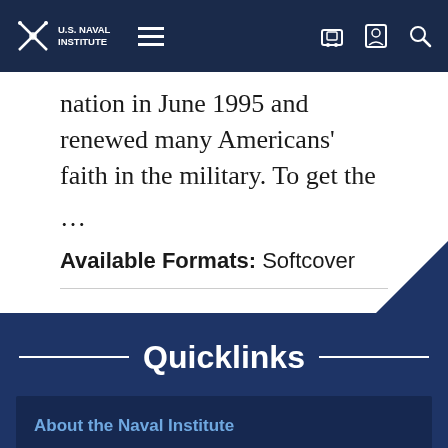U.S. Naval Institute
nation in June 1995 and renewed many Americans' faith in the military. To get the ...
Available Formats: Softcover
Quicklinks
About the Naval Institute
This website uses cookies to improve your browsing experience. By using this site, you agree to our use of cookies. View our Privacy Policy.